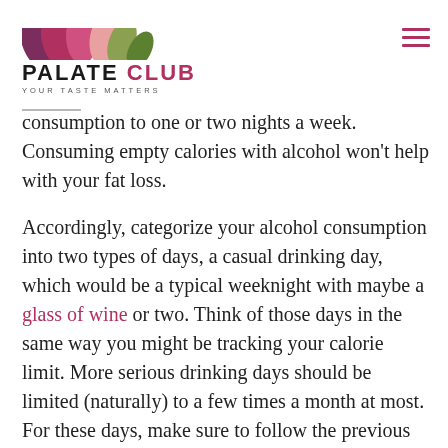PALATE CLUB — YOUR TASTE MATTERS
likely you'll be transforming it into fat. Limit your alcohol consumption to one or two nights a week. Consuming empty calories with alcohol won't help with your fat loss.
Accordingly, categorize your alcohol consumption into two types of days, a casual drinking day, which would be a typical weeknight with maybe a glass of wine or two. Think of those days in the same way you might be tracking your calorie limit. More serious drinking days should be limited (naturally) to a few times a month at most. For these days, make sure to follow the previous advice of excluding carbohydrates, fats, and sugars in your diet beforehand, which will then help prevent storing extra fat.
And there you have it, five simple tips to reach your health